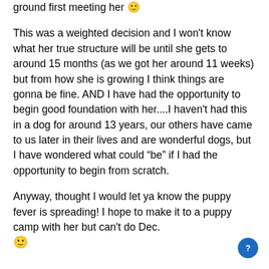ground first meeting her 🙂
This was a weighted decision and I won't know what her true structure will be until she gets to around 15 months (as we got her around 11 weeks) but from how she is growing I think things are gonna be fine. AND I have had the opportunity to begin good foundation with her....I haven't had this in a dog for around 13 years, our others have came to us later in their lives and are wonderful dogs, but I have wondered what could "be" if I had the opportunity to begin from scratch.
Anyway, thought I would let ya know the puppy fever is spreading! I hope to make it to a puppy camp with her but can't do Dec. 🙂